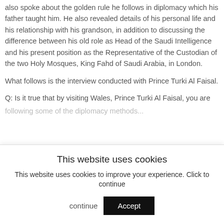also spoke about the golden rule he follows in diplomacy which his father taught him. He also revealed details of his personal life and his relationship with his grandson, in addition to discussing the difference between his old role as Head of the Saudi Intelligence and his present position as the Representative of the Custodian of the two Holy Mosques, King Fahd of Saudi Arabia, in London.
What follows is the interview conducted with Prince Turki Al Faisal.
Q: Is it true that by visiting Wales, Prince Turki Al Faisal, you are
following some of the diplomacy methods...
This website uses cookies
This website uses cookies to improve your experience. Click to continue